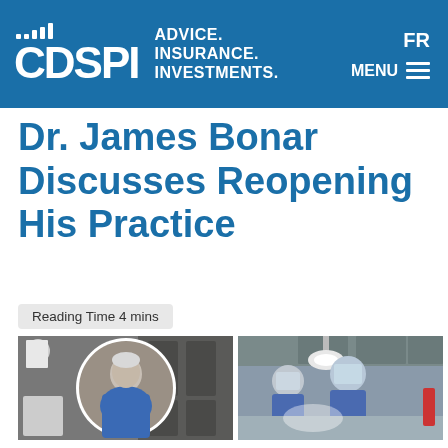CDSPI — ADVICE. INSURANCE. INVESTMENTS. | FR | MENU
Dr. James Bonar Discusses Reopening His Practice
Reading Time 4 mins
[Figure (photo): Left: portrait of Dr. James Bonar in scrubs sitting in a dental chair in a clinical setting, presented in a circular frame overlay on a background photo of the same office. Right: two dental practitioners in PPE (surgical gowns, masks, face shields) performing a dental procedure on a patient under surgical lighting.]